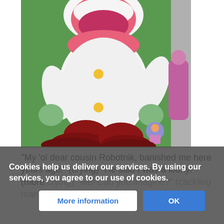[Figure (illustration): Cartoon character in a white outfit with red pants, large pink mouth/lips, green gloved hands, holding a small figure, standing on green background. Likely a Sonic the Hedgehog cartoon villain character.]
“My ’ol dear cousin Robotnik, banished me here years ago!” (crying) “He said I was a loony!” (more crying) “Me! Can you imagine?” (cackling maniacally)
“Besides! H[e said I was a bit] [too] [fl]ishy [to...]  What [...]
Cookies help us deliver our services. By using our services, you agree to our use of cookies.